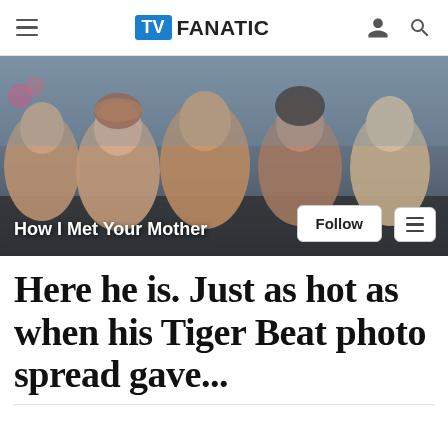TV FANATIC
[Figure (photo): Cast photo of How I Met Your Mother TV show — five cast members sitting together in what appears to be a car interior. Text overlay reads 'How I Met Your Mother' with Follow and menu buttons.]
Here he is. Just as hot as when his Tiger Beat photo spread gave...